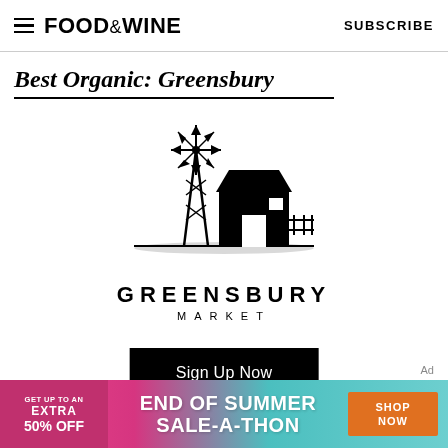FOOD&WINE  SUBSCRIBE
Best Organic: Greensbury
[Figure (logo): Greensbury Market logo — black silhouette of a windmill and barn with the text GREENSBURY MARKET below]
Sign Up Now
[Figure (infographic): Advertisement banner: GET UP TO AN EXTRA 50% OFF — END OF SUMMER SALE-A-THON — SHOP NOW]